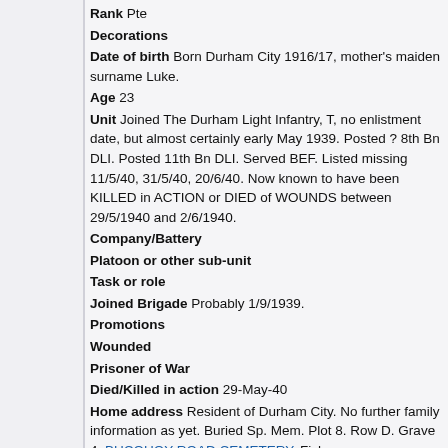Rank Pte
Decorations
Date of birth Born Durham City 1916/17, mother's maiden surname Luke.
Age 23
Unit Joined The Durham Light Infantry, T, no enlistment date, but almost certainly early May 1939. Posted ? 8th Bn DLI. Posted 11th Bn DLI. Served BEF. Listed missing 11/5/40, 31/5/40, 20/6/40. Now known to have been KILLED in ACTION or DIED of WOUNDS between 29/5/1940 and 2/6/1940.
Company/Battery
Platoon or other sub-unit
Task or role
Joined Brigade Probably 1/9/1939.
Promotions
Wounded
Prisoner of War
Died/Killed in action 29-May-40
Home address Resident of Durham City. No further family information as yet. Buried Sp. Mem. Plot 8. Row D. Grave 4. BUCQUOY ROAD CEMETERY, Ficheux.